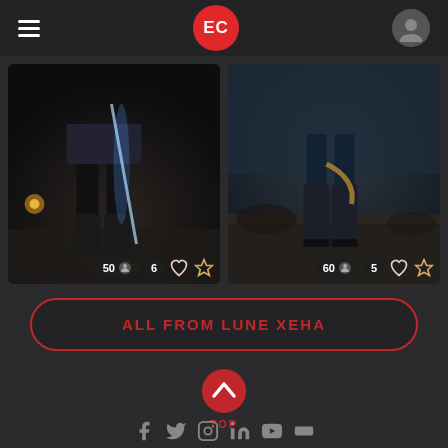EC — navigation header with hamburger menu and avatar
[Figure (screenshot): Game screenshot showing character legs/boots with a glowing weapon in dark environment, overlaid with stats: 50 views, 6 comments, heart icon, star icon]
[Figure (screenshot): Game screenshot showing character in high boots in outdoor rocky environment, overlaid with stats: 60 views, 5 comments, heart icon, star icon]
ALL FROM LUNE XEHA
[Figure (infographic): TOP button with chevron-up icon in red circle]
Social media icons row (Facebook, Twitter, Instagram, and others)